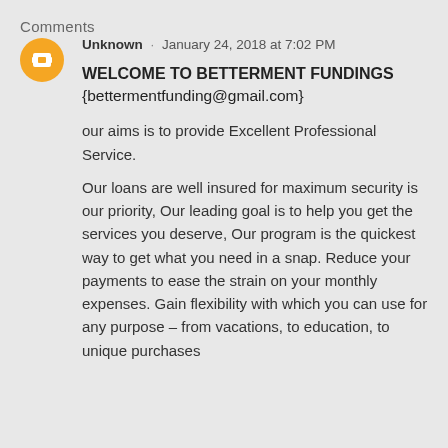Comments
Unknown · January 24, 2018 at 7:02 PM
WELCOME TO BETTERMENT FUNDINGS
{bettermentfunding@gmail.com}

our aims is to provide Excellent Professional Service.

Our loans are well insured for maximum security is our priority, Our leading goal is to help you get the services you deserve, Our program is the quickest way to get what you need in a snap. Reduce your payments to ease the strain on your monthly expenses. Gain flexibility with which you can use for any purpose – from vacations, to education, to unique purchases